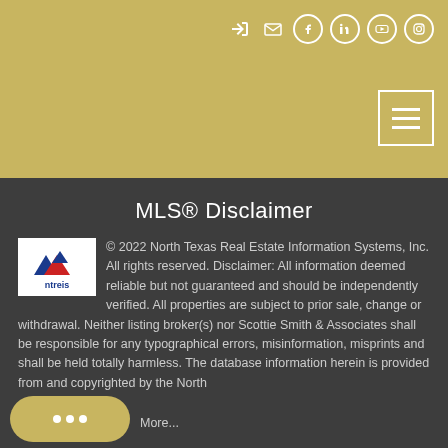[Figure (screenshot): Gold/tan header bar with social media icons (login, email, Facebook, LinkedIn, YouTube, Instagram) and hamburger menu button]
MLS® Disclaimer
[Figure (logo): NTREIS logo - North Texas Real Estate Information Systems with stylized house/arrows icon]
© 2022 North Texas Real Estate Information Systems, Inc. All rights reserved. Disclaimer: All information deemed reliable but not guaranteed and should be independently verified. All properties are subject to prior sale, change or withdrawal. Neither listing broker(s) nor Scottie Smith & Associates shall be responsible for any typographical errors, misinformation, misprints and shall be held totally harmless. The database information herein is provided from and copyrighted by the North More...